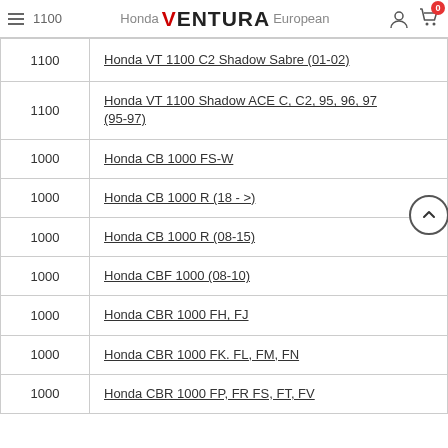1100 | Honda Ventura European
|  |  |
| --- | --- |
| 1100 | Honda VT 1100 C2 Shadow Sabre (01-02) |
| 1100 | Honda VT 1100 Shadow ACE C, C2, 95, 96, 97 (95-97) |
| 1000 | Honda CB 1000 FS-W |
| 1000 | Honda CB 1000 R (18 - >) |
| 1000 | Honda CB 1000 R (08-15) |
| 1000 | Honda CBF 1000 (08-10) |
| 1000 | Honda CBR 1000 FH, FJ |
| 1000 | Honda CBR 1000 FK. FL, FM, FN |
| 1000 | Honda CBR 1000 FP, FR FS, FT, FV |